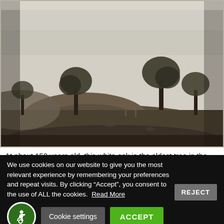[Figure (photo): Black and white historical photograph showing a grassy hillside or earthen mound with several trees (oaks and others) in the background, under an overcast sky. The terrain is rough and open parkland.]
At about 150 years old, this white oak is the oldest tree in the park. It is called the Olmsted Oak because it appears in this
We use cookies on our website to give you the most relevant experience by remembering your preferences and repeat visits. By clicking “Accept”, you consent to the use of ALL the cookies. Read More